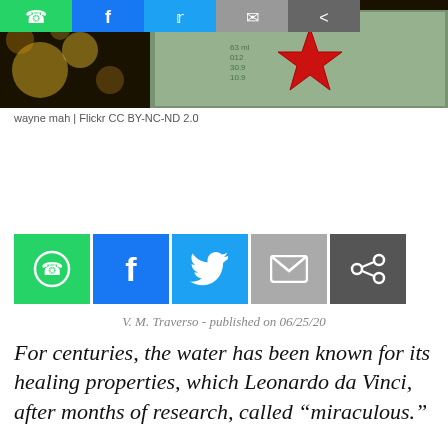[Figure (photo): Close-up photo of a mineral water bottle label with a red star logo, partial text reading MINERAL WATER, bokeh background with yellow/orange lights on the left and green/teal tones on the right. Social sharing buttons bar across the top.]
wayne mah | Flickr CC BY-NC-ND 2.0
[Figure (infographic): Row of social sharing buttons: WhatsApp (green), Facebook (blue), Twitter (light blue), Email (grey), Share (dark grey)]
V. M. Traverso - published on 06/25/20
For centuries, the water has been known for its healing properties, which Leonardo da Vinci, after months of research, called “miraculous.”